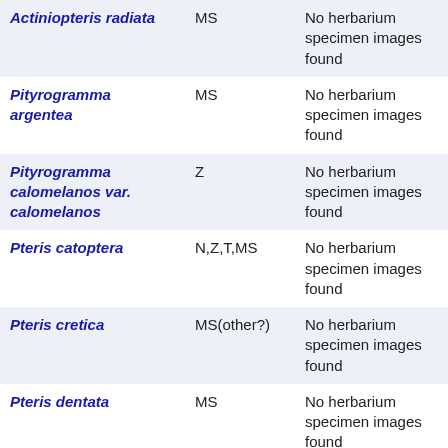| Actiniopteris radiata | MS | No herbarium specimen images found |
| Pityrogramma argentea | MS | No herbarium specimen images found |
| Pityrogramma calomelanos var. calomelanos | Z | No herbarium specimen images found |
| Pteris catoptera | N,Z,T,MS | No herbarium specimen images found |
| Pteris cretica | MS(other?) | No herbarium specimen images found |
| Pteris dentata | MS | No herbarium specimen images found |
| Pteris friesii | N,Z,MS | No herbarium |